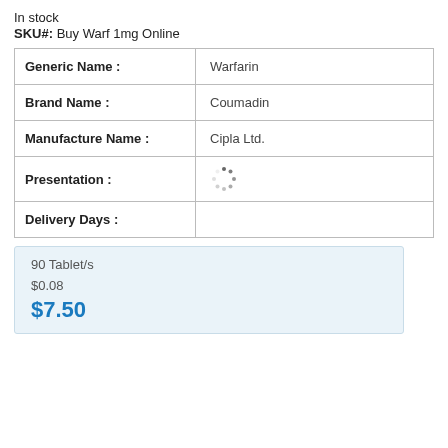In stock
SKU#:  Buy Warf 1mg Online
| Field | Value |
| --- | --- |
| Generic Name : | Warfarin |
| Brand Name : | Coumadin |
| Manufacture Name : | Cipla Ltd. |
| Presentation : |  |
| Delivery Days : |  |
90 Tablet/s
$0.08
$7.50